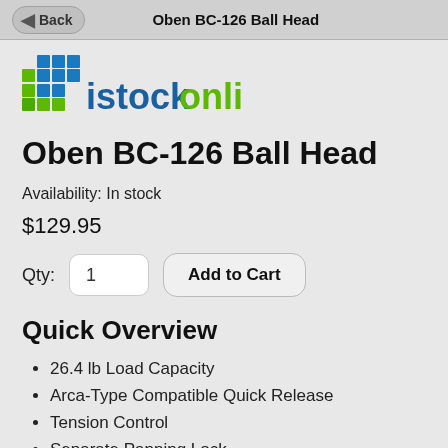Oben BC-126 Ball Head
[Figure (logo): istockonline.com logo with blue and green grid/stack icon on the left]
Oben BC-126 Ball Head
Availability: In stock
$129.95
Qty: 1  Add to Cart
Quick Overview
26.4 lb Load Capacity
Arca-Type Compatible Quick Release
Tension Control
Separate Panning Lock